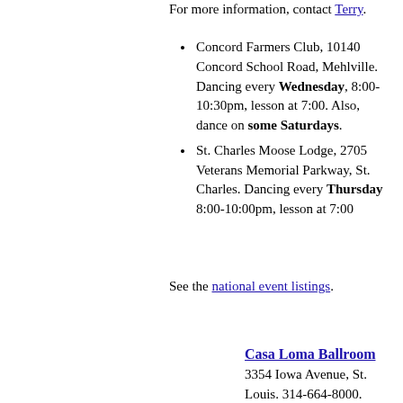For more information, contact Terry.
Concord Farmers Club, 10140 Concord School Road, Mehlville. Dancing every Wednesday, 8:00-10:30pm, lesson at 7:00. Also, dance on some Saturdays.
St. Charles Moose Lodge, 2705 Veterans Memorial Parkway, St. Charles. Dancing every Thursday 8:00-10:00pm, lesson at 7:00
See the national event listings.
Casa Loma Ballroom
3354 Iowa Avenue, St. Louis. 314-664-8000. Swing dancing on the weekends. LIVE